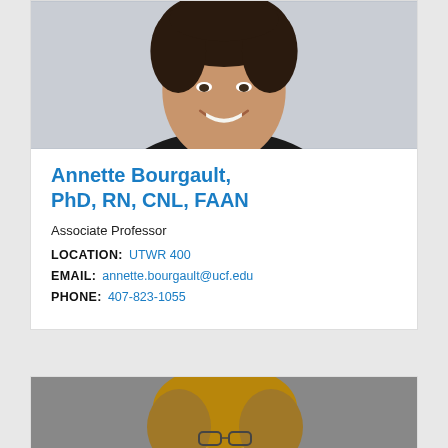[Figure (photo): Headshot photo of Annette Bourgault, a woman with dark curly hair, smiling, wearing a black top, against a light background]
Annette Bourgault, PhD, RN, CNL, FAAN
Associate Professor
LOCATION:  UTWR 400
EMAIL:  annette.bourgault@ucf.edu
PHONE:  407-823-1055
[Figure (photo): Partial headshot of a second person with curly blonde/brown hair and glasses, partially visible at the bottom of the page]